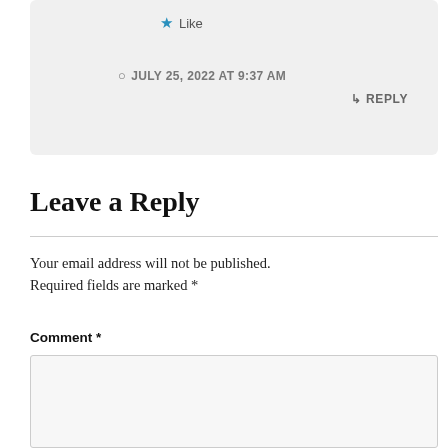★ Like
JULY 25, 2022 AT 9:37 AM
↳ REPLY
Leave a Reply
Your email address will not be published. Required fields are marked *
Comment *